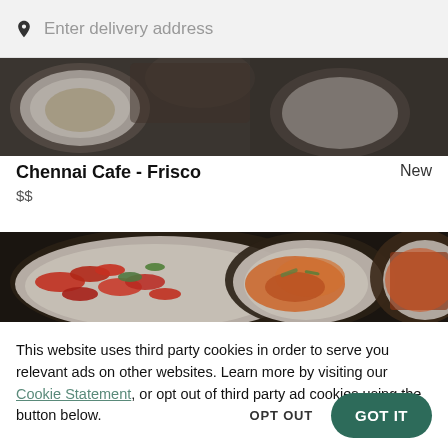Enter delivery address
[Figure (photo): Top portion of a food delivery website showing a close-up of dishes with plates of food on a dark background]
Chennai Cafe - Frisco
New
$$
[Figure (photo): Close-up of Indian food dishes including red chili stir-fry and curry in white plates on a dark background]
This website uses third party cookies in order to serve you relevant ads on other websites. Learn more by visiting our Cookie Statement, or opt out of third party ad cookies using the button below.
OPT OUT
GOT IT